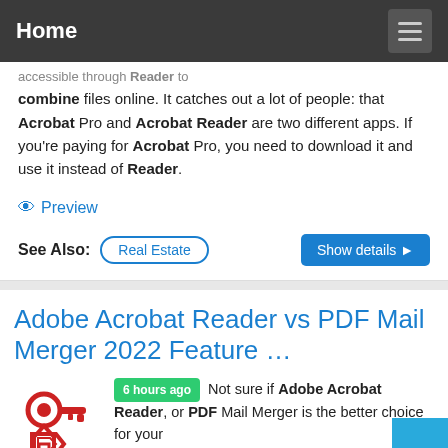Home
accessible through Reader to combine files online. It catches out a lot of people: that Acrobat Pro and Acrobat Reader are two different apps. If you're paying for Acrobat Pro, you need to download it and use it instead of Reader.
Preview
See Also: Real Estate   Show details ▶
Adobe Acrobat Reader vs PDF Mail Merger 2022 Feature …
6 hours ago Not sure if Adobe Acrobat Reader, or PDF Mail Merger is the better choice for your needs? No problem! Check…